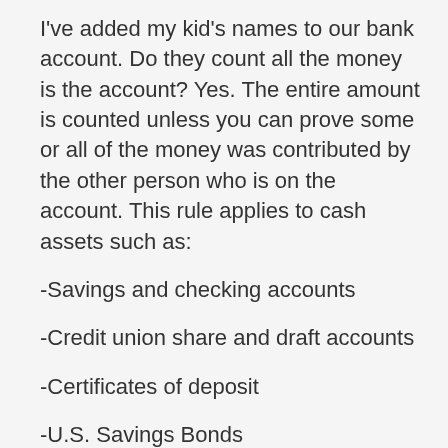I've added my kid's names to our bank account. Do they count all the money is the account? Yes. The entire amount is counted unless you can prove some or all of the money was contributed by the other person who is on the account. This rule applies to cash assets such as:
-Savings and checking accounts
-Credit union share and draft accounts
-Certificates of deposit
-U.S. Savings Bonds
Can't I Just Give My Assets Away?
Many people wonder, can't I just give my assets away? The answer is, maybe, but only if it's done exactly right. The law has severe penalties